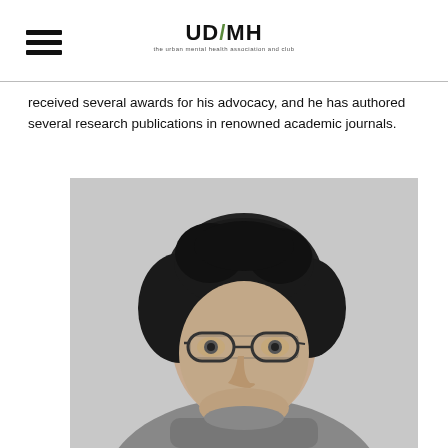UD/MH
received several awards for his advocacy, and he has authored several research publications in renowned academic journals.
[Figure (photo): Black and white portrait photograph of a young man with curly hair wearing glasses and a turtleneck sweater, smiling at the camera.]